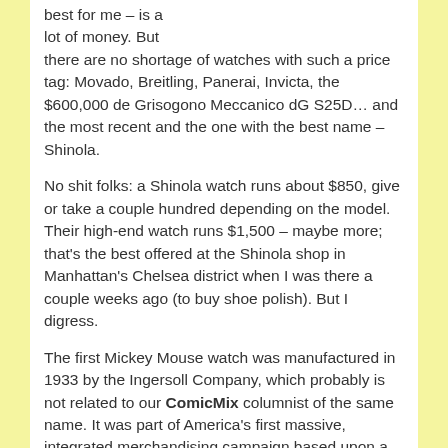best for me – is a lot of money. But there are no shortage of watches with such a price tag: Movado, Breitling, Panerai, Invicta, the $600,000 de Grisogono Meccanico dG S25D… and the most recent and the one with the best name – Shinola.
No shit folks: a Shinola watch runs about $850, give or take a couple hundred depending on the model. Their high-end watch runs $1,500 – maybe more; that's the best offered at the Shinola shop in Manhattan's Chelsea district when I was there a couple weeks ago (to buy shoe polish). But I digress.
The first Mickey Mouse watch was manufactured in 1933 by the Ingersoll Company, which probably is not related to our ComicMix columnist of the same name. It was part of America's first massive, integrated merchandising campaign based upon a cartoon or